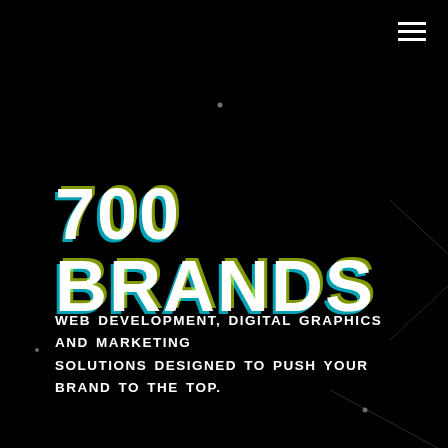[Figure (logo): Hamburger menu icon (three white horizontal lines) in top-right corner on black background]
700 BRANDS
WEB DEVELOPMENT, DIGITAL GRAPHICS AND MARKETING SOLUTIONS DESIGNED TO PUSH YOUR BRAND TO THE TOP.